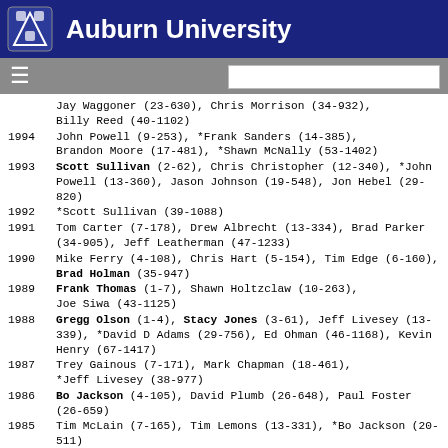Auburn University
Jay Waggoner (23-630), Chris Morrison (34-932), Billy Reed (40-1102)
1994 John Powell (9-253), *Frank Sanders (14-385), Brandon Moore (17-481), *Shawn McNally (53-1402)
1993 Scott Sullivan (2-62), Chris Christopher (12-340), *John Powell (13-360), Jason Johnson (19-548), Jon Hebel (29-820)
1992 *Scott Sullivan (39-1088)
1991 Tom Carter (7-178), Drew Albrecht (13-334), Brad Parker (34-905), Jeff Leatherman (47-1233)
1990 Mike Ferry (4-108), Chris Hart (5-154), Tim Edge (6-160), Brad Holman (35-947)
1989 Frank Thomas (1-7), Shawn Holtzclaw (10-263), Joe Siwa (43-1125)
1988 Gregg Olson (1-4), Stacy Jones (3-61), Jeff Livesey (13-339), *David D Adams (29-756), Ed Ohman (46-1168), Kevin Henry (67-1417)
1987 Trey Gainous (7-171), Mark Chapman (18-461), *Jeff Livesey (38-977)
1986 Bo Jackson (4-105), David Plumb (26-648), Paul Foster (26-659)
1985 Tim McLain (7-165), Tim Lemons (13-331), *Bo Jackson (20-511)
1984 Stu Tate (8-193)
1983 Bob Berry (36-804)
1982 Doug Gilcrease (7-168), Darryl Wilks (11-285), John Metasavage (25-626), Dave Heath (26-654)
1981 John Tutt (8-206), Phil Deriso (18-454), Mark